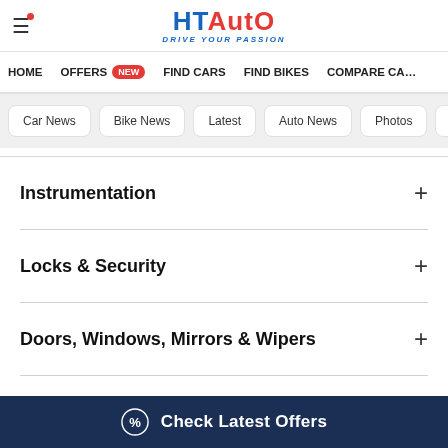HT Auto - Drive Your Passion
HOME
OFFERS new
FIND CARS
FIND BIKES
COMPARE CA...
Car News
Bike News
Latest
Auto News
Photos
Videos
Instrumentation
Locks & Security
Doors, Windows, Mirrors & Wipers
Engine & Transmission
Check Latest Offers